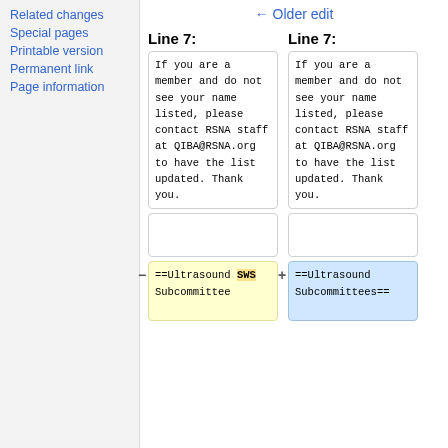Related changes
Special pages
Printable version
Permanent link
Page information
← Older edit
Line 7:	Line 7:
If you are a member and do not see your name listed, please contact RSNA staff at QIBA@RSNA.org to have the list updated. Thank you.
If you are a member and do not see your name listed, please contact RSNA staff at QIBA@RSNA.org to have the list updated. Thank you.
==Ultrasound SWS Subcommittee
==Ultrasound Subcommittees==